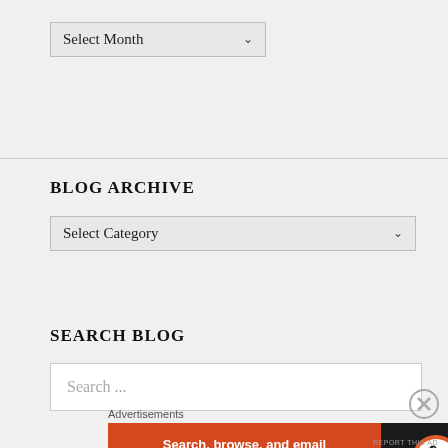[Figure (screenshot): Dropdown select box labeled 'Select Month' with a chevron/arrow indicator]
BLOG ARCHIVE
[Figure (screenshot): Dropdown select box labeled 'Select Category' with a chevron/arrow indicator]
SEARCH BLOG
[Figure (screenshot): Search input box with placeholder text 'Search ...']
Advertisements
[Figure (infographic): DuckDuckGo advertisement banner: orange left section with text 'Search, browse, and email with more privacy.' and 'All in One Free App' button; dark right section with DuckDuckGo duck logo and 'DuckDuckGo' text]
REPORT THIS AD